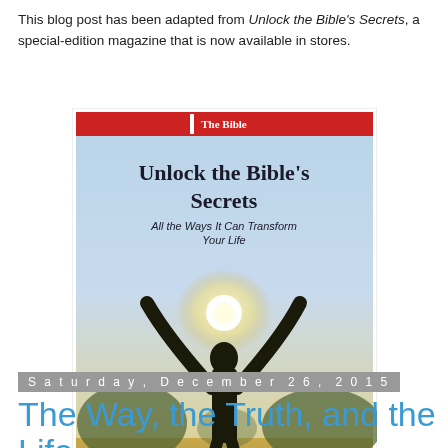This blog post has been adapted from Unlock the Bible's Secrets, a special-edition magazine that is now available in stores.
[Figure (photo): Magazine cover of 'Unlock the Bible's Secrets' showing a person with arms raised toward sunlight in a field, with text 'All the Ways It Can Transform Your Life']
Christopher D. Hudson at Wednesday, December 30, 2015
No comments:
Share
Saturday, December 26, 2015
The Way, the Truth, and the Life